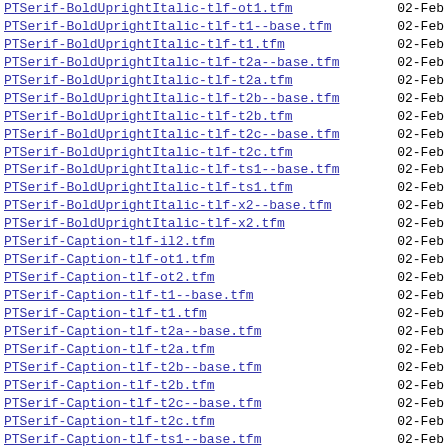PTSerif-BoldUprightItalic-tlf-ot1.tfm   02-Feb
PTSerif-BoldUprightItalic-tlf-t1--base.tfm   02-Feb
PTSerif-BoldUprightItalic-tlf-t1.tfm   02-Feb
PTSerif-BoldUprightItalic-tlf-t2a--base.tfm   02-Feb
PTSerif-BoldUprightItalic-tlf-t2a.tfm   02-Feb
PTSerif-BoldUprightItalic-tlf-t2b--base.tfm   02-Feb
PTSerif-BoldUprightItalic-tlf-t2b.tfm   02-Feb
PTSerif-BoldUprightItalic-tlf-t2c--base.tfm   02-Feb
PTSerif-BoldUprightItalic-tlf-t2c.tfm   02-Feb
PTSerif-BoldUprightItalic-tlf-ts1--base.tfm   02-Feb
PTSerif-BoldUprightItalic-tlf-ts1.tfm   02-Feb
PTSerif-BoldUprightItalic-tlf-x2--base.tfm   02-Feb
PTSerif-BoldUprightItalic-tlf-x2.tfm   02-Feb
PTSerif-Caption-tlf-il2.tfm   02-Feb
PTSerif-Caption-tlf-ot1.tfm   02-Feb
PTSerif-Caption-tlf-ot2.tfm   02-Feb
PTSerif-Caption-tlf-t1--base.tfm   02-Feb
PTSerif-Caption-tlf-t1.tfm   02-Feb
PTSerif-Caption-tlf-t2a--base.tfm   02-Feb
PTSerif-Caption-tlf-t2a.tfm   02-Feb
PTSerif-Caption-tlf-t2b--base.tfm   02-Feb
PTSerif-Caption-tlf-t2b.tfm   02-Feb
PTSerif-Caption-tlf-t2c--base.tfm   02-Feb
PTSerif-Caption-tlf-t2c.tfm   02-Feb
PTSerif-Caption-tlf-ts1--base.tfm   02-Feb
PTSerif-Caption-tlf-ts1.tfm   02-Feb
PTSerif-Caption-tlf-x2--base.tfm   02-Feb
PTSerif-Caption-tlf-x2.tfm   02-Feb
PTSerif-CaptionItalic-tlf-il2.tfm   02-Feb
PTSerif-CaptionItalic-tlf-ot1.tfm   02-Feb